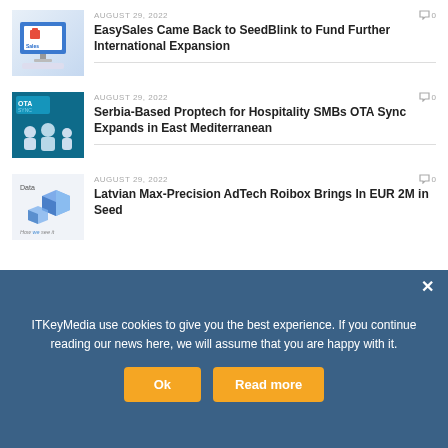[Figure (photo): EasySales product screenshot on computer monitor thumbnail]
AUGUST 29, 2022
0
EasySales Came Back to SeedBlink to Fund Further International Expansion
[Figure (photo): OTA Sync team photo with blue branded background]
AUGUST 29, 2022
0
Serbia-Based Proptech for Hospitality SMBs OTA Sync Expands in East Mediterranean
[Figure (photo): Roibox AdTech data visualization thumbnail]
AUGUST 29, 2022
0
Latvian Max-Precision AdTech Roibox Brings In EUR 2M in Seed
OUR TAG CLOUD (JOIN THE CLOUDS!)
ITKeyMedia use cookies to give you the best experience. If you continue reading our news here, we will assume that you are happy with it.